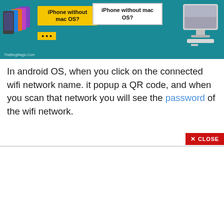[Figure (screenshot): Banner image with teal background showing iPhones on left, iMac on right, and a white text box reading 'iPhone without mac OS?' with a yellow decorative box. Watermark reads TheBlogMagic.Com]
In android OS, when you click on the connected wifi network name. it popup a QR code, and when you scan that network you will see the password of the wifi network.
If you think you can also see a passcode like this then is not possible for now. Maybe in new iOS updates, iPhone supports that kind of feature.